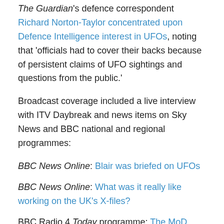The Guardian's defence correspondent Richard Norton-Taylor concentrated upon Defence Intelligence interest in UFOs, noting that 'officials had to cover their backs because of persistent claims of UFO sightings and questions from the public.'
Broadcast coverage included a live interview with ITV Daybreak and news items on Sky News and BBC national and regional programmes:
BBC News Online: Blair was briefed on UFOs
BBC News Online: What was it really like working on the UK's X-files?
BBC Radio 4 Today programme: The MoD UFO files (Report by Sanchia Berg).
The Voice of Russia: UFO Mysteries